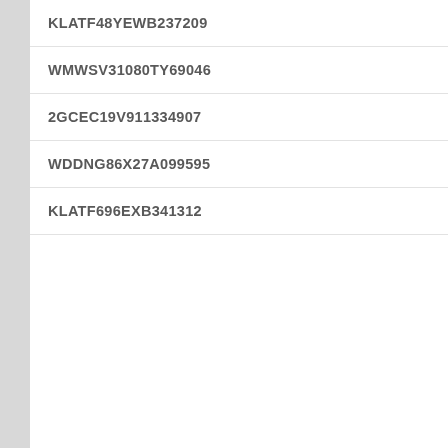| VIN |
| --- |
| KLATF48YEWB237209 |
| WMWSV31080TY69046 |
| 2GCEC19V911334907 |
| WDDNG86X27A099595 |
| KLATF696EXB341312 |